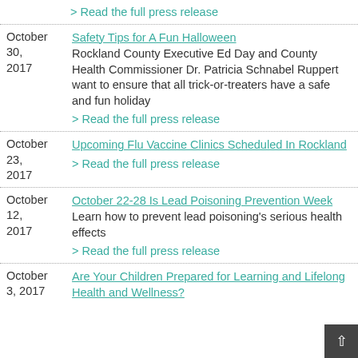> Read the full press release
October 30, 2017 — Safety Tips for A Fun Halloween — Rockland County Executive Ed Day and County Health Commissioner Dr. Patricia Schnabel Ruppert want to ensure that all trick-or-treaters have a safe and fun holiday > Read the full press release
October 23, 2017 — Upcoming Flu Vaccine Clinics Scheduled In Rockland > Read the full press release
October 12, 2017 — October 22-28 Is Lead Poisoning Prevention Week — Learn how to prevent lead poisoning's serious health effects > Read the full press release
October 3, 2017 — Are Your Children Prepared for Learning and Lifelong Health and Wellness?